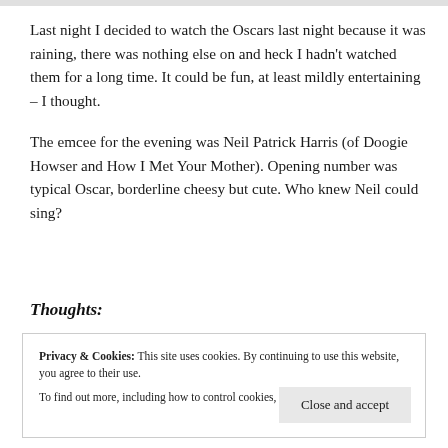Last night I decided to watch the Oscars last night because it was raining, there was nothing else on and heck I hadn't watched them for a long time. It could be fun, at least mildly entertaining – I thought.
The emcee for the evening was Neil Patrick Harris (of Doogie Howser and How I Met Your Mother). Opening number was typical Oscar, borderline cheesy but cute. Who knew Neil could sing?
Thoughts:
Privacy & Cookies: This site uses cookies. By continuing to use this website, you agree to their use.
To find out more, including how to control cookies, see here: Cookie Policy